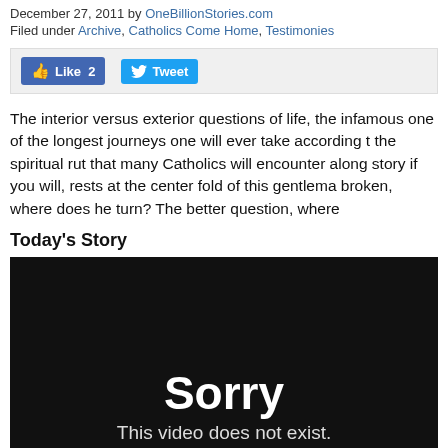December 27, 2011 by OneBillionStories.com
Filed under Archive, Catholics Come Home, Testimonies
[Figure (screenshot): Social sharing bar with Facebook Like (2) button and Twitter Tweet button on a light grey background]
The interior versus exterior questions of life, the infamous one of the longest journeys one will ever take according to the spiritual rut that many Catholics will encounter along story if you will, rests at the center fold of this gentleman' broken, where does he turn? The better question, where
Today's Story
[Figure (screenshot): Embedded video player showing error message: 'Sorry — This video does not exist.' on black background]